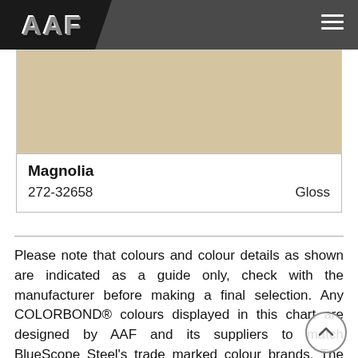AAF AUSTRALIAN ALUMINIUM FINISHING
[Figure (other): Color swatch showing Magnolia paint color - a light beige/tan tone]
Magnolia
272-32658    Gloss
Please note that colours and colour details as shown are indicated as a guide only, check with the manufacturer before making a final selection. Any COLORBOND® colours displayed in this chart are designed by AAF and its suppliers to match BlueScope Steel's trade marked colour brands. The colours and paint systems employed by AAF are not the same as those used by BlueScope Steel and as such colours may vary. Paints promoted on this website are not endorsed or manufactured by